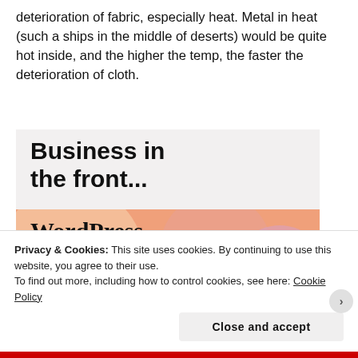deterioration of fabric, especially heat. Metal in heat (such a ships in the middle of deserts) would be quite hot inside, and the higher the temp, the faster the deterioration of cloth.
[Figure (illustration): Advertisement banner showing 'Business in the front...' text on light grey background above an orange/pink gradient background with 'WordPress in the back.' text in serif font]
Privacy & Cookies: This site uses cookies. By continuing to use this website, you agree to their use.
To find out more, including how to control cookies, see here: Cookie Policy
Close and accept